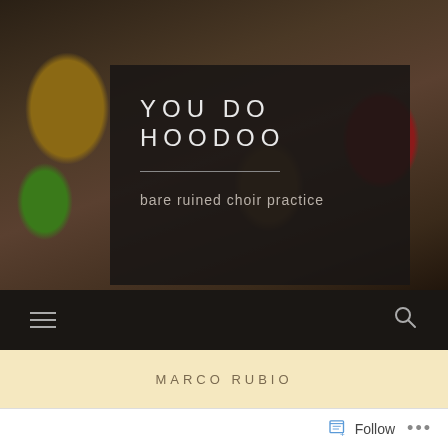[Figure (photo): Background photo of pottery and ceramic vessels in warm earth tones — includes a striped straw/reed vase, brown clay pots, a green and orange decorative pot, and a dark red glazed vase, set against a dark background.]
YOU DO HOODOO
bare ruined choir practice
MARCO RUBIO
Follow